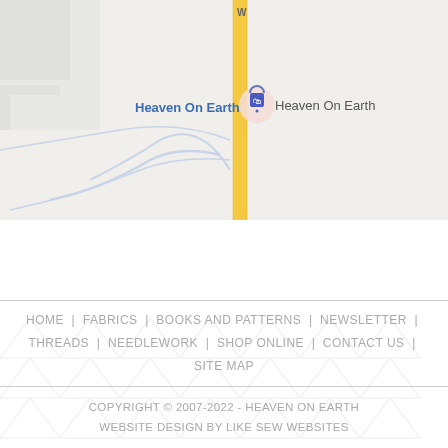[Figure (map): Google Maps screenshot showing Heaven On Earth store location with a blue label 'Heaven On Earth', a pink map pin with shopping bag icon, and a yellow road running vertically through the map on a light gray background with road outlines.]
HOME  |  FABRICS  |  BOOKS AND PATTERNS  |  NEWSLETTER  |  THREADS  |  NEEDLEWORK  |  SHOP ONLINE  |  CONTACT US  |  SITE MAP
COPYRIGHT © 2007-2022 - HEAVEN ON EARTH
WEBSITE DESIGN BY LIKE SEW WEBSITES